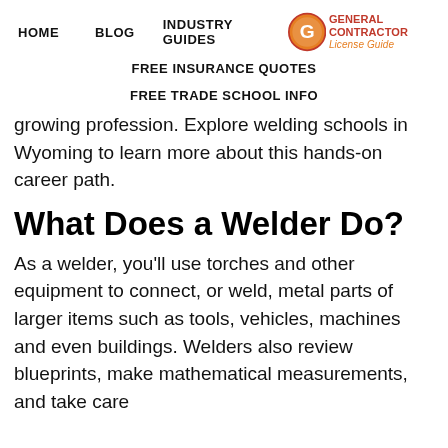HOME   BLOG   INDUSTRY GUIDES   FREE INSURANCE QUOTES   FREE TRADE SCHOOL INFO
[Figure (logo): General Contractor License Guide logo — orange circle with G, red bold text GENERAL Contractor, orange italic text License Guide]
growing profession. Explore welding schools in Wyoming to learn more about this hands-on career path.
What Does a Welder Do?
As a welder, you'll use torches and other equipment to connect, or weld, metal parts of larger items such as tools, vehicles, machines and even buildings. Welders also review blueprints, make mathematical measurements, and take care